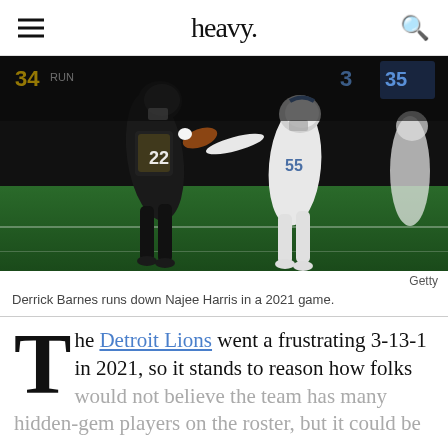heavy.
[Figure (photo): Football game action photo: Derrick Barnes (Detroit Lions, #55, white uniform) runs down Najee Harris (Pittsburgh Steelers, #22, black and yellow uniform) carrying the ball on a green field.]
Getty
Derrick Barnes runs down Najee Harris in a 2021 game.
The Detroit Lions went a frustrating 3-13-1 in 2021, so it stands to reason how folks would not believe the team has many hidden-gem players on the roster, but it could be